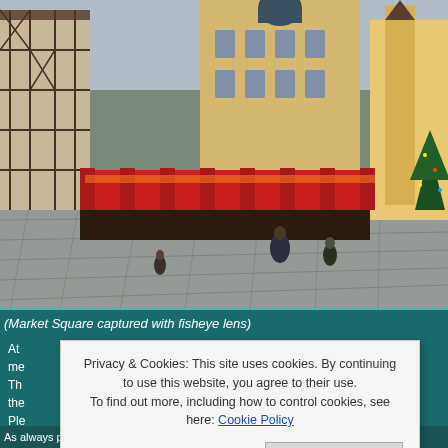[Figure (photo): Wide-angle fisheye lens photo of a European Market Square (Rothenburg ob der Tauber) with half-timbered buildings, Christmas market stalls with red awnings, cobblestone plaza, and pedestrians walking around.]
(Market Square captured with fisheye lens)
At ... im ... me ... Th ... pict ... the ... Ple ... mole ... BT ... , a ... se ...
Privacy & Cookies: This site uses cookies. By continuing to use this website, you agree to their use. To find out more, including how to control cookies, see here: Cookie Policy
As always please click on the pictures to enlarge them – highly recommended!